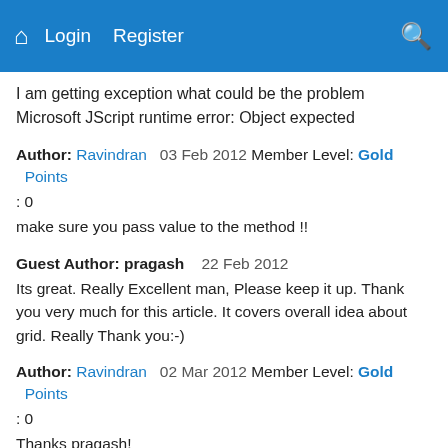Home  Login  Register  [search]
I am getting exception what could be the problem Microsoft JScript runtime error: Object expected
Author: Ravindran  03 Feb 2012 Member Level: Gold  Points : 0
make sure you pass value to the method !!
Guest Author: pragash  22 Feb 2012
Its great. Really Excellent man, Please keep it up. Thank you very much for this article. It covers overall idea about grid. Really Thank you:-)
Author: Ravindran  02 Mar 2012 Member Level: Gold  Points : 0
Thanks pragash!
Guest Author: siva  05 Mar 2012
Thank YOU VERY MUCH . I got an idea about grid..
Guest Author: Ashish  18 Mar 2012